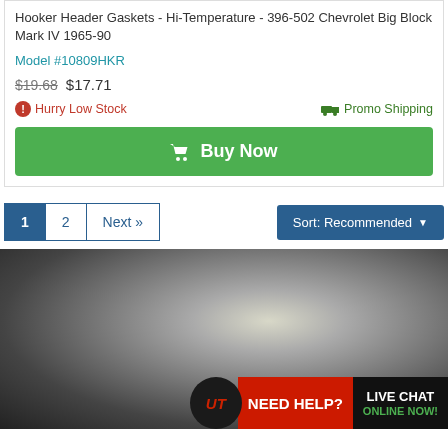Hooker Header Gaskets - Hi-Temperature - 396-502 Chevrolet Big Block Mark IV 1965-90
Model #10809HKR
$19.68  $17.71
Hurry Low Stock   Promo Shipping
Buy Now
Sort: Recommended
1   2   Next »
[Figure (photo): Close-up photo of a person's hands or clothing, dark background. Bottom overlay shows UT logo circle, red NEED HELP? bar, and black LIVE CHAT / ONLINE NOW! box.]